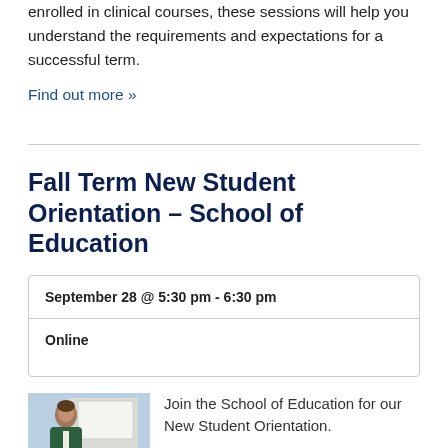enrolled in clinical courses, these sessions will help you understand the requirements and expectations for a successful term.
Find out more »
Fall Term New Student Orientation – School of Education
| September 28 @ 5:30 pm - 6:30 pm |
| Online |
Join the School of Education for our New Student Orientation.